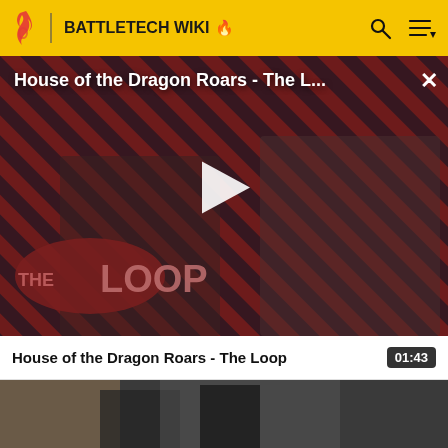BATTLETECH WIKI
[Figure (screenshot): Video player overlay showing 'House of the Dragon Roars - The L...' with a play button in the center, diagonal red/black striped background with two characters from a TV show, and THE LOOP logo in bottom left]
House of the Dragon Roars - The Loop
01:43
[Figure (screenshot): Video thumbnail showing a dark scene with figures in medieval/fantasy armor]